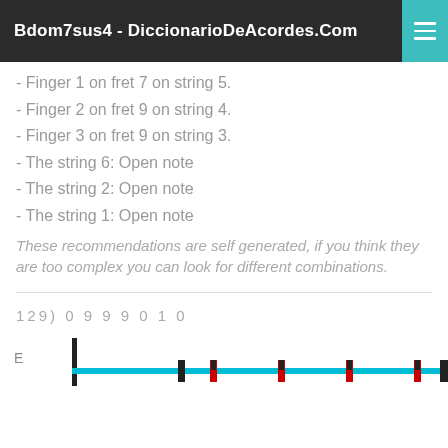Bdom7sus4 - DiccionarioDeAcordes.Com
- Finger 1 on fret 7 on string 5.
- Finger 2 on fret 9 on string 4.
- Finger 3 on fret 9 on string 3.
- The string 6: Open note
- The string 2: Open note
- The string 1: Open note
These recommendations are self generated, if you think they are too complex you can look for different combinations.
129) 0 9 9 9 0 1 0
[Figure (schematic): Guitar fretboard diagram showing string E with fret markers including black and red/black position markers on a cyan/turquoise string line]